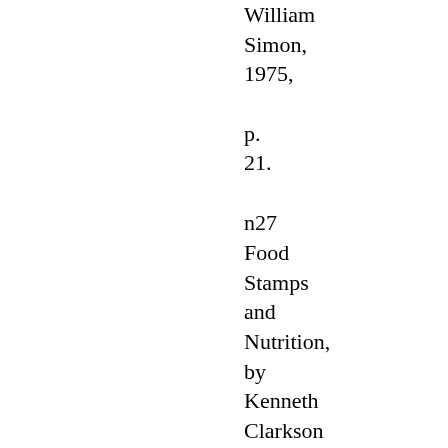William Simon, 1975, p. 21.
n27 Food Stamps and Nutrition, by Kenneth Clarkson (American Enterprise Institute, 1975), p. 4.
The farcical work registration requirements